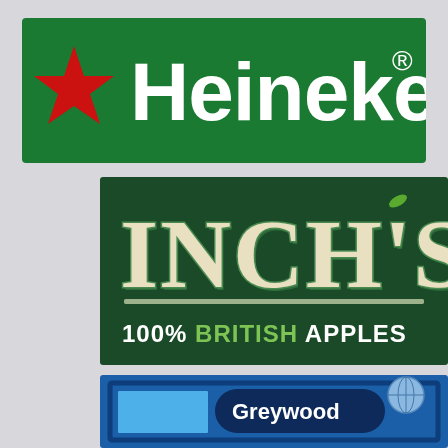[Figure (logo): Heineken logo: green rectangle background with red star on left and white bold text 'Heineken' with registered trademark symbol]
[Figure (logo): Inch's cider logo: dark green rectangle with large cream/beige stylized text 'INCH'S' and green text '100% BRITISH APPLES' below]
[Figure (logo): Greywood logo: blue rectangle with inner dark blue border, light blue rectangle on left, dark blue oval shape with white text 'Greywood' and a globe/ball graphic on right]